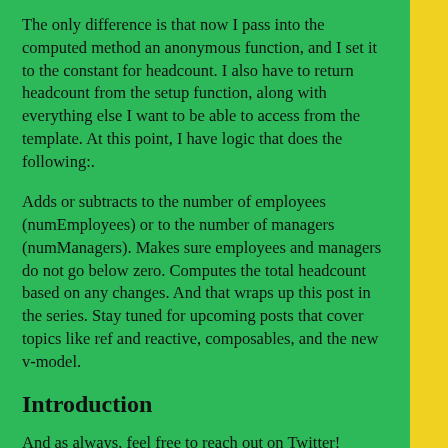The only difference is that now I pass into the computed method an anonymous function, and I set it to the constant for headcount. I also have to return headcount from the setup function, along with everything else I want to be able to access from the template. At this point, I have logic that does the following:.
Adds or subtracts to the number of employees (numEmployees) or to the number of managers (numManagers). Makes sure employees and managers do not go below zero. Computes the total headcount based on any changes. And that wraps up this post in the series. Stay tuned for upcoming posts that cover topics like ref and reactive, composables, and the new v-model.
Introduction
And as always, feel free to reach out on Twitter! Modified1 year, 5 months ago. I am trying to watch a prop in Vue 3 but it is strange that when I destructure it then the watcher doesn't work. But without destructuring it works as expected.